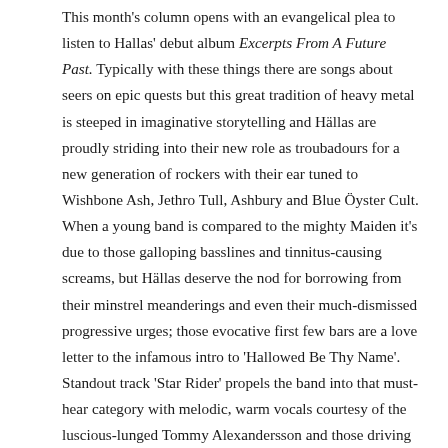This month's column opens with an evangelical plea to listen to Hallas' debut album Excerpts From A Future Past. Typically with these things there are songs about seers on epic quests but this great tradition of heavy metal is steeped in imaginative storytelling and Hällas are proudly striding into their new role as troubadours for a new generation of rockers with their ear tuned to Wishbone Ash, Jethro Tull, Ashbury and Blue Öyster Cult. When a young band is compared to the mighty Maiden it's due to those galloping basslines and tinnitus-causing screams, but Hällas deserve the nod for borrowing from their minstrel meanderings and even their much-dismissed progressive urges; those evocative first few bars are a love letter to the infamous intro to 'Hallowed Be Thy Name'. Standout track 'Star Rider' propels the band into that must-hear category with melodic, warm vocals courtesy of the luscious-lunged Tommy Alexandersson and those driving Vangelis keys from Nicklas Malmqvist. If you need an album to listen to on the way home from watching the new Blade Runner, this is it. LB